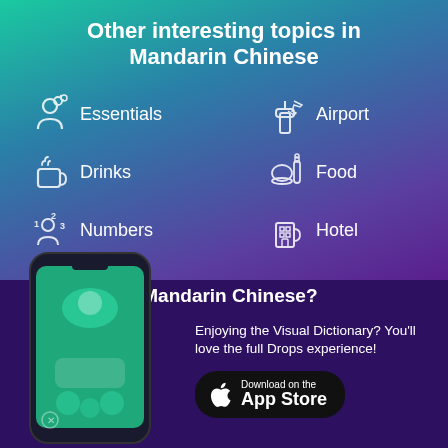Other interesting topics in Mandarin Chinese
Essentials
Airport
Drinks
Food
Numbers
Hotel
[Figure (screenshot): Drops app screenshot showing language learning interface on a smartphone]
Learn Mandarin Chinese?
Enjoying the Visual Dictionary? You'll love the full Drops experience!
Download on the App Store